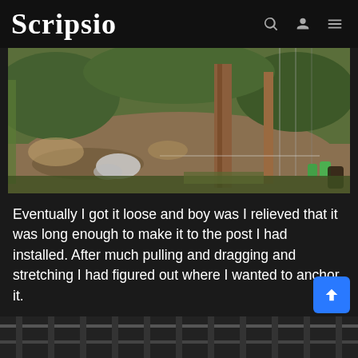Scripsio
[Figure (photo): Outdoor ground-level photo showing a dirt area with a wooden post, chain-link fence, scattered plastic bags, green vegetation, and some tools or objects on the ground.]
Eventually I got it loose and boy was I relieved that it was long enough to make it to the post I had installed. After much pulling and dragging and stretching I had figured out where I wanted to anchor it.
[Figure (photo): Partial bottom strip showing what appears to be a fence or railing, cropped.]